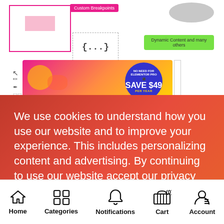[Figure (screenshot): Screenshot of a website builder interface showing custom breakpoints label, pink wireframe boxes, a dashed code block with {...}, a green pill labeled 'Dynamic Content and many others', and an ad banner with 'NO NEED FOR ELEMENTOR PRO - SAVE $49 PER YEAR' badge]
We use cookies to understand how you use our website and to improve your experience. This includes personalizing content and advertising. By continuing to use our website accept our privacy policy and terms & conditions.
I agree
Home  Categories  Notifications  Cart (0)  Account